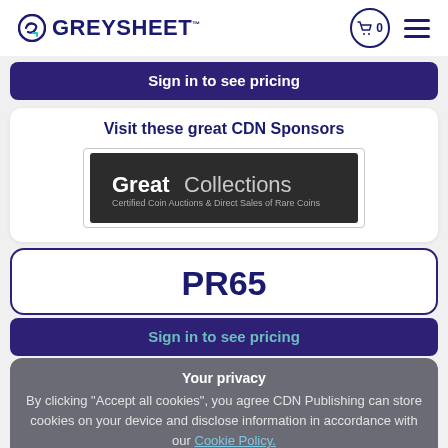GREYSHEET
Sign in to see pricing
Visit these great CDN Sponsors
[Figure (logo): GreatCollections logo - Certified Coin Auctions & Direct Sales of Rare Coins]
PR65
Sign in to see pricing
Your privacy
By clicking "Accept all cookies", you agree CDN Publishing can store cookies on your device and disclose information in accordance with our Cookie Policy.